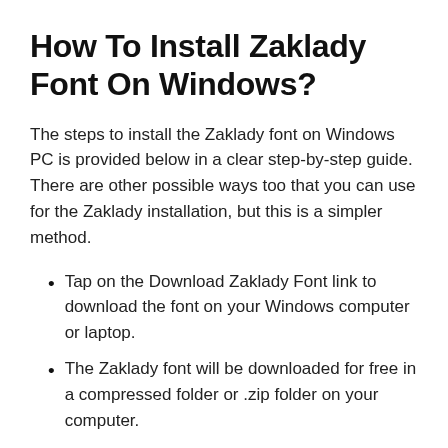How To Install Zaklady Font On Windows?
The steps to install the Zaklady font on Windows PC is provided below in a clear step-by-step guide. There are other possible ways too that you can use for the Zaklady installation, but this is a simpler method.
Tap on the Download Zaklady Font link to download the font on your Windows computer or laptop.
The Zaklady font will be downloaded for free in a compressed folder or .zip folder on your computer.
Now, go ahead, and extract the